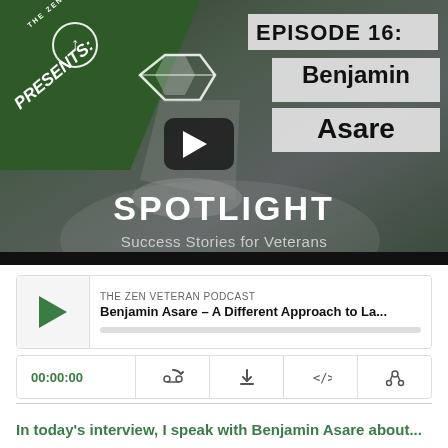[Figure (screenshot): YouTube-style video thumbnail for The Zen Veteran Podcast Spotlight series, Episode 16 featuring Benjamin Asare. Dark green/grey background with white SPOTLIGHT logo and play button. Green diagonal banner in top-left with PRESENTS text. White boxes showing EPISODE 16: and Benjamin Asare in top-right.]
[Figure (screenshot): Podcast audio player widget showing The Zen Veteran Podcast episode: Benjamin Asare - A Different Approach to La... with green play button, progress bar, time display 00:00:00, and control icons for subscribe, download, embed, and share.]
In today's interview, I speak with Benjamin Asare about...